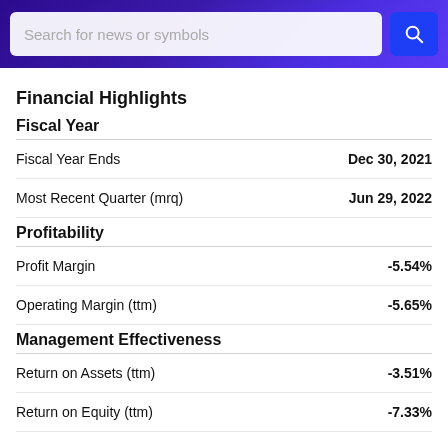Search for news or symbols
Financial Highlights
Fiscal Year
|  |  |
| --- | --- |
| Fiscal Year Ends | Dec 30, 2021 |
| Most Recent Quarter (mrq) | Jun 29, 2022 |
Profitability
|  |  |
| --- | --- |
| Profit Margin | -5.54% |
| Operating Margin (ttm) | -5.65% |
Management Effectiveness
|  |  |
| --- | --- |
| Return on Assets (ttm) | -3.51% |
| Return on Equity (ttm) | -7.33% |